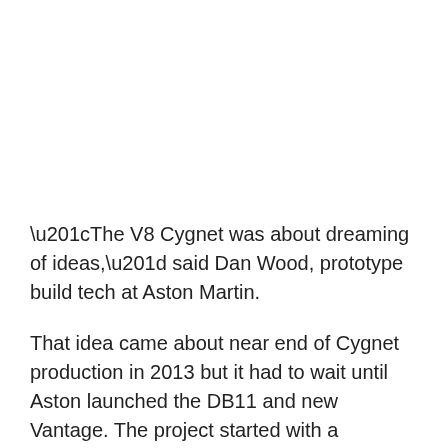“The V8 Cygnet was about dreaming of ideas,” said Dan Wood, prototype build tech at Aston Martin.
That idea came about near end of Cygnet production in 2013 but it had to wait until Aston launched the DB11 and new Vantage. The project started with a complete, right-hand drive Cygnet and took about a year.